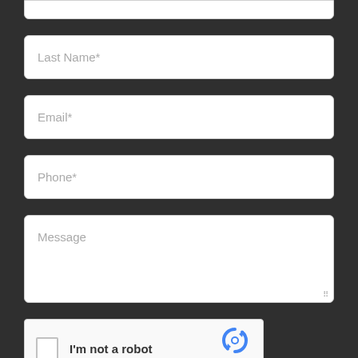[Figure (screenshot): Partially visible input field at the top of the page (truncated)]
Last Name*
Email*
Phone*
Message
[Figure (screenshot): reCAPTCHA widget with checkbox labeled 'I'm not a robot' and reCAPTCHA logo]